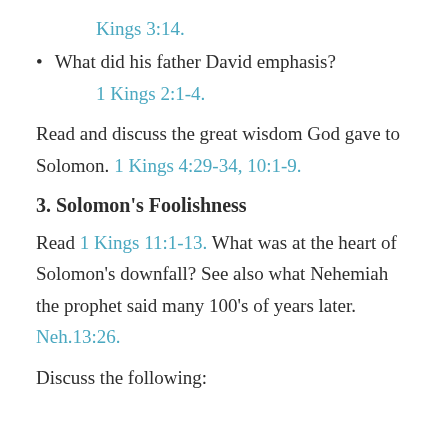Kings 3:14.
What did his father David emphasis?
1 Kings 2:1-4.
Read and discuss the great wisdom God gave to Solomon. 1 Kings 4:29-34, 10:1-9.
3. Solomon's Foolishness
Read 1 Kings 11:1-13. What was at the heart of Solomon's downfall? See also what Nehemiah the prophet said many 100's of years later. Neh.13:26.
Discuss the following: